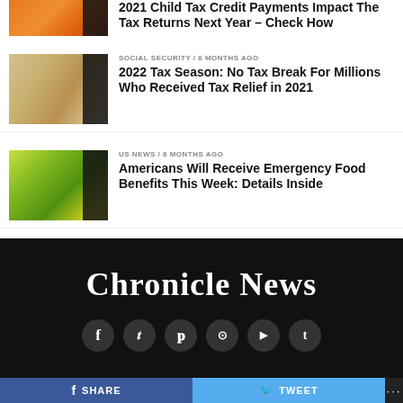[Figure (photo): Partial view of a card/document being held, cropped at top]
2021 Child Tax Credit Payments Impact The Tax Returns Next Year – Check How
[Figure (photo): US Treasury check document]
SOCIAL SECURITY / 8 months ago
2022 Tax Season: No Tax Break For Millions Who Received Tax Relief in 2021
[Figure (photo): Grocery store produce section]
US NEWS / 8 months ago
Americans Will Receive Emergency Food Benefits This Week: Details Inside
[Figure (logo): Chronicle News logo in blackletter font on dark background]
SHARE   TWEET   ...